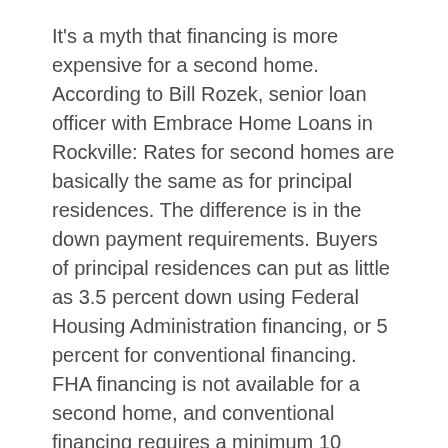It's a myth that financing is more expensive for a second home. According to Bill Rozek, senior loan officer with Embrace Home Loans in Rockville: Rates for second homes are basically the same as for principal residences. The difference is in the down payment requirements. Buyers of principal residences can put as little as 3.5 percent down using Federal Housing Administration financing, or 5 percent for conventional financing. FHA financing is not available for a second home, and conventional financing requires a minimum 10 percent down. Money for second homes is readily available, but you must have good credit to get good rates, Rozek added.
Money is even available for real estate investors